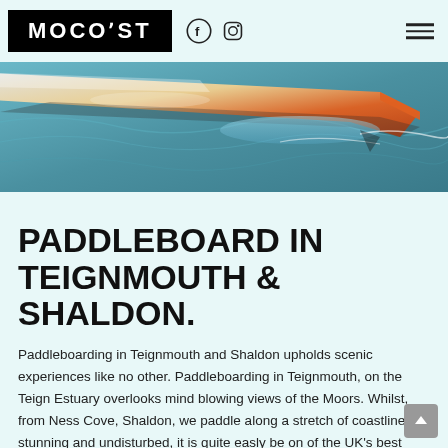MOCOAST
[Figure (photo): A paddleboard on blue water, shown in a diagonal/tilted perspective cropped view from top left to center right of the composition.]
PADDLEBOARD IN TEIGNMOUTH & SHALDON.
Paddleboarding in Teignmouth and Shaldon upholds scenic experiences like no other. Paddleboarding in Teignmouth, on the Teign Estuary overlooks mind blowing views of the Moors. Whilst, from Ness Cove, Shaldon, we paddle along a stretch of coastline so stunning and undisturbed, it is quite easly be on of the UK's best kept secret.